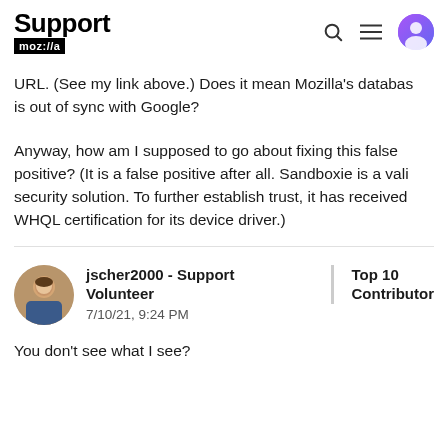Support moz://a
URL. (See my link above.) Does it mean Mozilla's database is out of sync with Google?
Anyway, how am I supposed to go about fixing this false positive? (It is a false positive after all. Sandboxie is a valid security solution. To further establish trust, it has received WHQL certification for its device driver.)
jscher2000 - Support Volunteer
7/10/21, 9:24 PM
Top 10 Contributor
You don't see what I see?